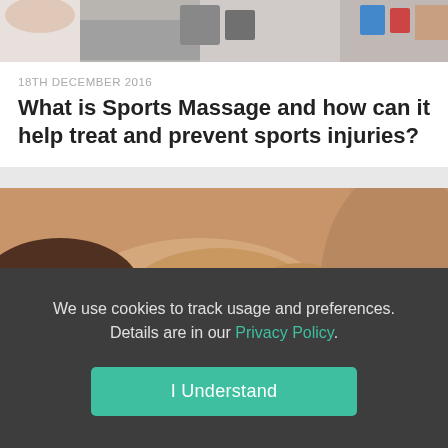[Figure (photo): Top strip of a photo showing a person receiving massage or physical therapy treatment, partial view]
18TH DECEMBER 2016
What is Sports Massage and how can it help treat and prevent sports injuries?
[Figure (photo): Close-up photo of hands performing sports massage on a person's shoulder or neck muscle]
We use cookies to track usage and preferences. Details are in our Privacy Policy.
I Understand